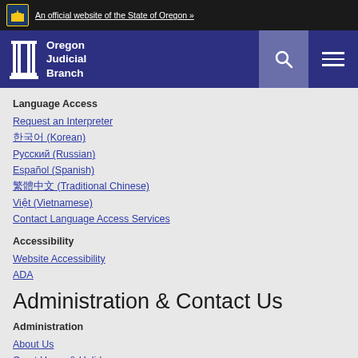An official website of the State of Oregon »
[Figure (logo): Oregon Judicial Branch logo with column icon]
Language Access
Request an Interpreter
한국어 (Korean)
Русский (Russian)
Español (Spanish)
繁體中文 (Traditional Chinese)
Việt (Vietnamese)
Contact Language Access Services
Accessibility
Website Accessibility
ADA
Administration & Contact Us
Administration
About Us
Court Hours & Holidays
Office of the State Court Administrator